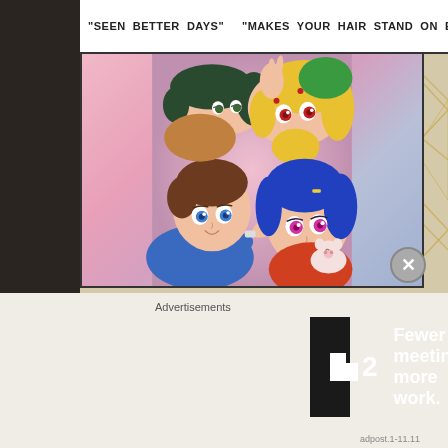"SEEN BETTER DAYS"   "MAKES YOUR HAIR STAND ON END"   "LOVE IS
[Figure (illustration): Anime illustration showing four characters lying down on a pink surface, viewed from above. Characters include a dark-haired male with blue eyes wearing a blue jacket with a white watch, a blonde female with red eyes, a blue-haired female with red/pink eyes holding a small white pig plushie, and a dark-haired character in green. The style is colorful Japanese anime art.]
Advertisements
[Figure (other): Advertisement banner with dark background showing a logo that looks like a stylized letter F or bracket shape followed by the number 2, with bold white text reading: Fewer meetings, more work.]